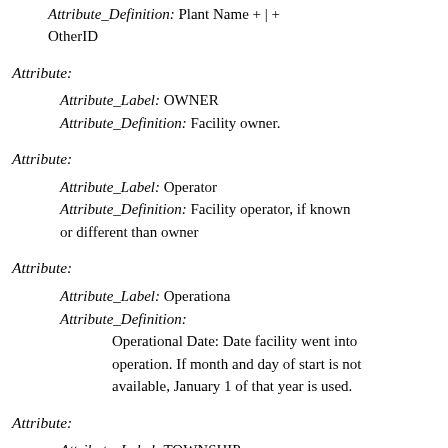Attribute_Definition: Plant Name + | + OtherID
Attribute:
Attribute_Label: OWNER
Attribute_Definition: Facility owner.
Attribute:
Attribute_Label: Operator
Attribute_Definition: Facility operator, if known or different than owner
Attribute:
Attribute_Label: Operationa
Attribute_Definition:
    Operational Date: Date facility went into operation. If month and day of start is not available, January 1 of that year is used.
Attribute:
Attribute_Label: TOWNSHIP
Attribute: